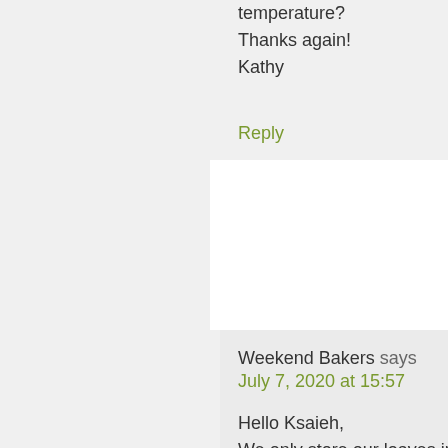temperature?
Thanks again!
Kathy
Reply
Weekend Bakers says
July 7, 2020 at 15:57
Hello Ksaieh,
We only store our loaves in the freezer after baking and with these high hydration loaves you can still give them a quick 'revival' in the oven if needed.
But in general people par bake bread for about 2/3 or 3/4 of the original baking time.